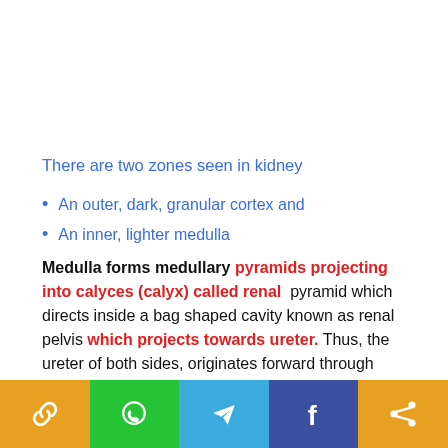There are two zones seen in kidney
An outer, dark, granular cortex and
An inner, lighter medulla
Medulla forms medullary pyramids projecting into calyces (calyx) called renal pyramid which directs inside a bag shaped cavity known as renal pelvis which projects towards ureter. Thus, the ureter of both sides, originates forward through renal pelvis and opens inside the urinary bladder.
[Figure (infographic): Social share buttons bar at bottom: link icon (orange), WhatsApp (green), Telegram (blue), Facebook (dark blue), share icon (orange)]